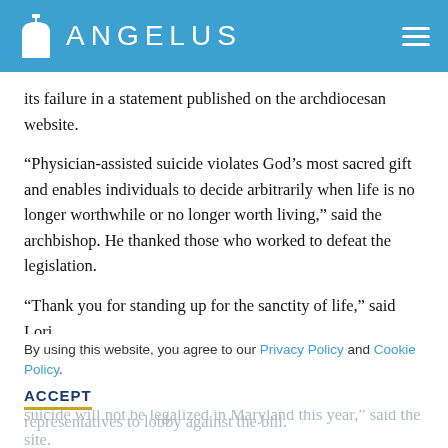ANGELUS
its failure in a statement published on the archdiocesan website.
“Physician-assisted suicide violates God’s most sacred gift and enables individuals to decide arbitrarily when life is no longer worthwhile or no longer worth living,” said the archbishop. He thanked those who worked to defeat the legislation.
“Thank you for standing up for the sanctity of life,” said Lori.
In a statement published on their website, the Maryland Catholic Conference thanked everyone who called their representatives to lobby against the bill.
By using this website, you agree to our Privacy Policy and Cookie Policy.
ACCEPT
“T… of your calls, emails, and efforts, physician-assisted suicide will not be legalized in Maryland this year,” said the site.
“This couldn’t have been possible without all of your amazing…